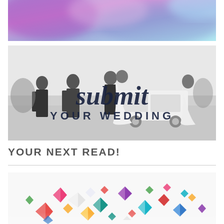[Figure (photo): Partially visible purple and light blue gradient banner at the top of the page, cropped]
[Figure (photo): Black and white photo of a wedding party outdoors near a white vehicle. Script text reads 'submit' and below it 'YOUR WEDDING' in sans-serif uppercase letters.]
YOUR NEXT READ!
[Figure (photo): Close-up photo of a colorful pile of rhinestones/gemstones in various colors including red, green, pink, teal, purple, gold, and clear, on a white background.]